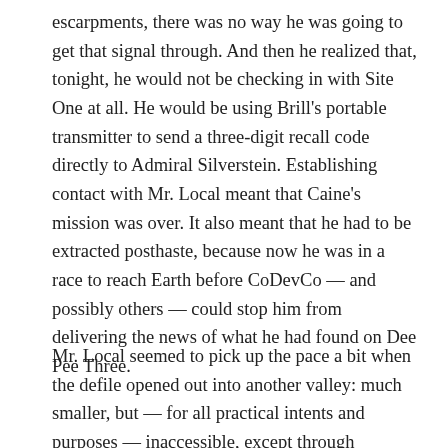escarpments, there was no way he was going to get that signal through. And then he realized that, tonight, he would not be checking in with Site One at all. He would be using Brill's portable transmitter to send a three-digit recall code directly to Admiral Silverstein. Establishing contact with Mr. Local meant that Caine's mission was over. It also meant that he had to be extracted posthaste, because now he was in a race to reach Earth before CoDevCo — and possibly others — could stop him from delivering the news of what he had found on Dee Pee Three.
Mr. Local seemed to pick up the pace a bit when the defile opened out into another valley: much smaller, but — for all practical intents and purposes — inaccessible, except through